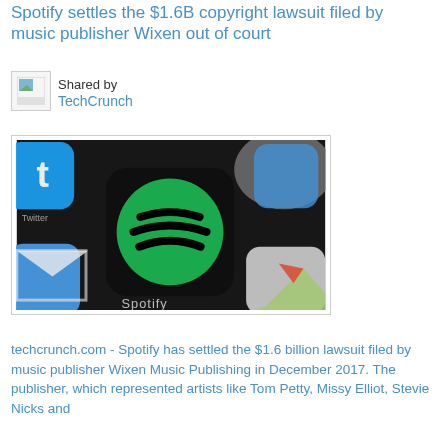Spotify settles the $1.6B copyright lawsuit filed by music publisher Wixen out of court
[Figure (screenshot): Small broken image icon placeholder]
Shared by
TechCrunch
[Figure (photo): Close-up photo of a smartphone screen showing the Spotify app icon (green circle with black sound wave lines) among other app icons including Twitter and Apple Maps, with the word 'Spotify' visible on the screen.]
techcrunch.com - Spotify has settled the $1.6 billion lawsuit filed by music publisher Wixen Music Publishing in December 2017. The publisher, which represented artists like Tom Petty, Missy Elliot, Stevie Nicks and